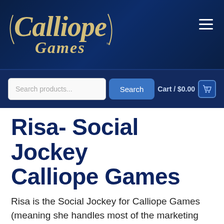[Figure (logo): Calliope Games logo in cream/tan script lettering on dark navy background]
Search products...  Search  Cart / $0.00  0
Risa- Social Jockey Calliope Games
Risa is the Social Jockey for Calliope Games (meaning she handles most of the marketing and customer interaction online and at conventions) When she's not playing board